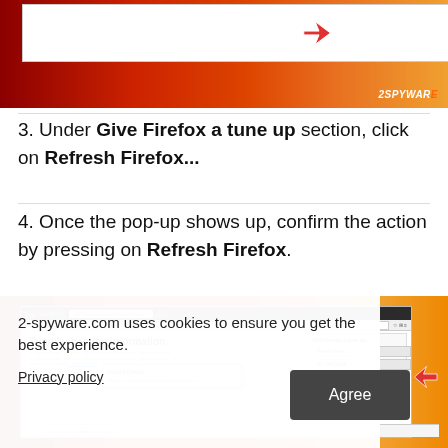[Figure (screenshot): Top screenshot of Firefox browser showing Troubleshooting Information page with a cursor/arrow pointing to a button, on a red-to-orange gradient background with 2SPYWARE logo]
3. Under Give Firefox a tune up section, click on Refresh Firefox...
4. Once the pop-up shows up, confirm the action by pressing on Refresh Firefox.
[Figure (screenshot): Screenshot of Firefox Troubleshooting Information page showing the Give Firefox a tune up panel with Refresh Firefox button highlighted, and a Refresh Firefox popup dialog, on red-to-orange gradient background]
2-spyware.com uses cookies to ensure you get the best experience.
Privacy policy
Agree